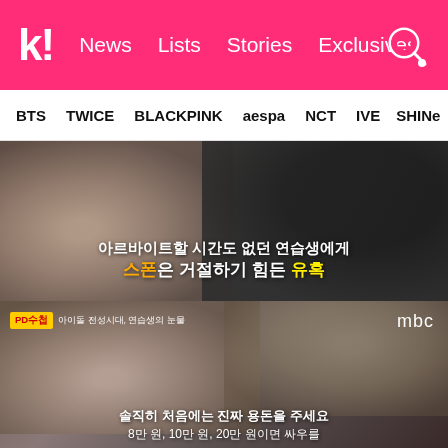k! News Lists Stories Exclusives
BTS  TWICE  BLACKPINK  aespa  NCT  IVE  SHINee
[Figure (screenshot): MBC TV screenshot showing a blurred silhouette of a person at a table. Korean text overlay reads: 아르바이트할 시간도 없던 연습생에게 스폰은 거절하기 힘든 유혹]
[Figure (screenshot): MBC PD수첩 screenshot showing blurred face of interview subject. PD수첩 badge with text 아이돌 전성시대, 연습생의 눈물. MBC logo top right. Korean text at bottom reads: 솔직히 처음에는 진짜 용돈을 주세요 8만 원, 10만 원, 20만 원이면 싸우를]